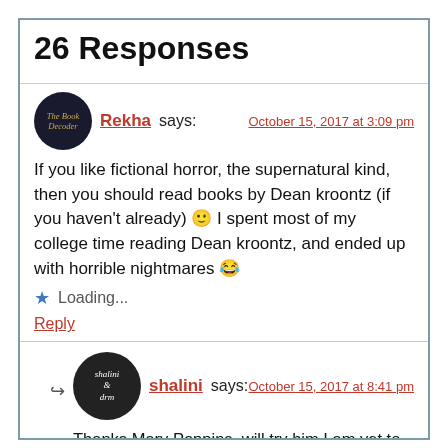26 Responses
Rekha says: October 15, 2017 at 3:09 pm
If you like fictional horror, the supernatural kind, then you should read books by Dean kroontz (if you haven't already) 🙂 I spent most of my college time reading Dean kroontz, and ended up with horrible nightmares 😂
Loading...
Reply
shalini says: October 15, 2017 at 8:41 pm
Thanks Mary Poppins, will try him I am yet to read Stephen